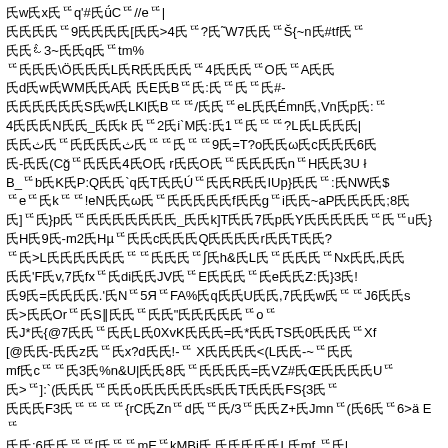Corrupted/encoded text block with diamond replacement characters and mixed ASCII symbols